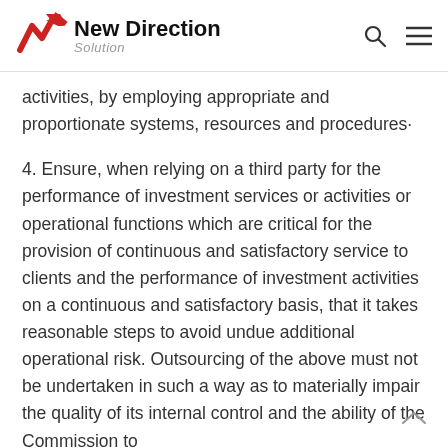New Direction Solution
activities, by employing appropriate and proportionate systems, resources and procedures·
4. Ensure, when relying on a third party for the performance of investment services or activities or operational functions which are critical for the provision of continuous and satisfactory service to clients and the performance of investment activities on a continuous and satisfactory basis, that it takes reasonable steps to avoid undue additional operational risk. Outsourcing of the above must not be undertaken in such a way as to materially impair the quality of its internal control and the ability of the Commission to